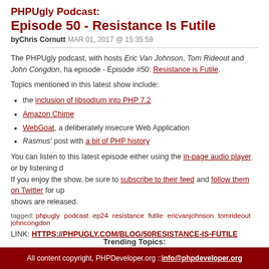PHPUgly Podcast: Episode 50 - Resistance Is Futile
byChris Cornutt MAR 01, 2017 @ 15:35:59
The PHPUgly podcast, with hosts Eric Van Johnson, Tom Rideout and John Congdon, ha... episode - Episode #50: Resistance is Futile.
Topics mentioned in this latest show include:
the inclusion of libsodium into PHP 7.2
Amazon Chime
WebGoat, a deliberately insecure Web Application
Rasmus' post with a bit of PHP history
You can listen to this latest episode either using the in-page audio player or by listening d... If you enjoy the show, be sure to subscribe to their feed and follow them on Twitter for up... shows are released.
tagged: phpugly podcast ep24 resistance futile ericvanjohnson tomrideout johncongdon
LINK: HTTPS://PHPUGLY.COM/BLOG/50RESISTANCE-IS-FUTILE
Trending Topics:
All content copyright, PHPDeveloper.org :: info@phpdeveloper.org